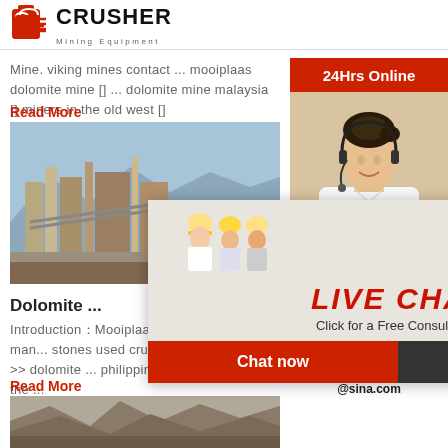[Figure (logo): Crusher Mining Equipment logo with red shopping bag/crusher icon and bold CRUSHER text]
Mine. viking mines contact ... mooiplaas dolomite mine [] ... dolomite mine malaysia [] miners in the old west []
Read More
[Figure (photo): Industrial mining equipment / crushing plant facility photo]
[Figure (photo): Live chat popup overlay showing workers in hard hats with LIVE CHAT heading and Chat now / Chat later buttons]
Dolomite [partial text cut off]
Introduction： Mooiplaas dolomite mine mill man... stones used crusher price ... Home >> dolomite ... philippines dolomite mining in the ...
Read More
[Figure (photo): Quarry / mountain mining landscape photo]
[Figure (infographic): Right sidebar: 24Hrs Online label, customer service agent photo, Need questions & suggestion panel, Chat Now button, Enquiry, limingjlmofen@sina.com]